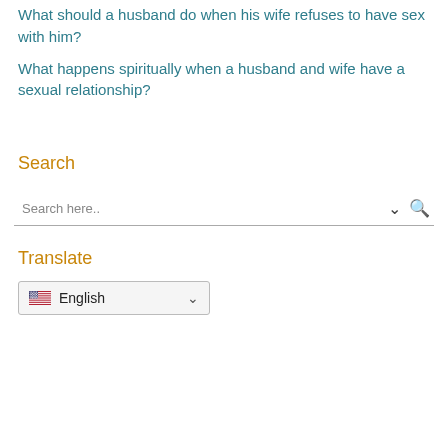What should a husband do when his wife refuses to have sex with him?
What happens spiritually when a husband and wife have a sexual relationship?
Search
Search here..
Translate
English